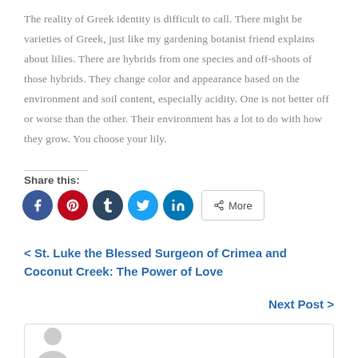The reality of Greek identity is difficult to call. There might be varieties of Greek, just like my gardening botanist friend explains about lilies. There are hybrids from one species and off-shoots of those hybrids. They change color and appearance based on the environment and soil content, especially acidity. One is not better off or worse than the other. Their environment has a lot to do with how they grow. You choose your lily.
Share this:
[Figure (other): Social sharing icons: Facebook (blue circle), Pinterest (red circle), Tumblr (dark blue circle), Twitter (light blue circle), LinkedIn (blue circle), and a More button]
< St. Luke the Blessed Surgeon of Crimea and Coconut Creek: The Power of Love
Next Post >
[Figure (other): Author avatar box with a gray placeholder silhouette icon at the bottom left]